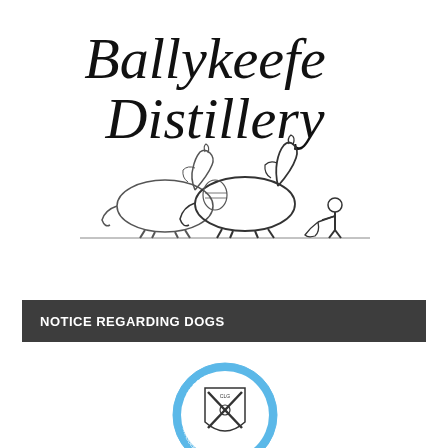[Figure (logo): Ballykeefe Distillery logo with cursive text 'Ballykeefe Distillery' above a pencil sketch illustration of two large draft horses pulling a plow guided by a farmer]
NOTICE REGARDING DOGS
[Figure (logo): Round badge/crest logo in blue and white with crossed hurley sticks, a shield shape, and text around the bottom reading 'GRASBER - BALLYEALLIN']